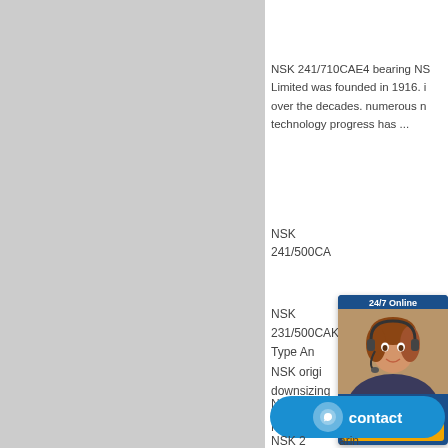[Figure (photo): Gray placeholder panel on the left side of the page]
NSK 241/710CAE4 bearing NSK Limited was founded in 1916. i over the decades. numerous n technology progress has ...
NSK 241/500CA
NSK 231/500CAKE Type An NSK origin downsizing of equipment, 68 a
NSK 241/500CAE4 bearin
NSK Longer Machine Life, Low
NSK bearings and linear motio
[Figure (photo): Live chat widget with a customer service representative photo, '24/7 Online' header, 'Enter any requests, click here.' text, and an orange 'Quotation' button]
[Figure (other): Blue rounded contact button with chat icon and 'contact' text]
NSK 2 arin